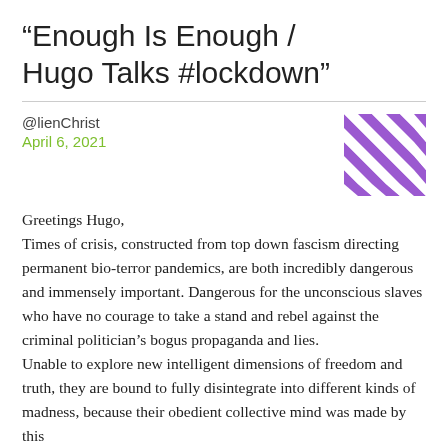“Enough Is Enough / Hugo Talks #lockdown”
@lienChrist
April 6, 2021
[Figure (illustration): Purple and white geometric quilt-pattern avatar image]
Greetings Hugo,
Times of crisis, constructed from top down fascism directing permanent bio-terror pandemics, are both incredibly dangerous and immensely important. Dangerous for the unconscious slaves who have no courage to take a stand and rebel against the criminal politician’s bogus propaganda and lies.
Unable to explore new intelligent dimensions of freedom and truth, they are bound to fully disintegrate into different kinds of madness, because their obedient collective mind was made by this